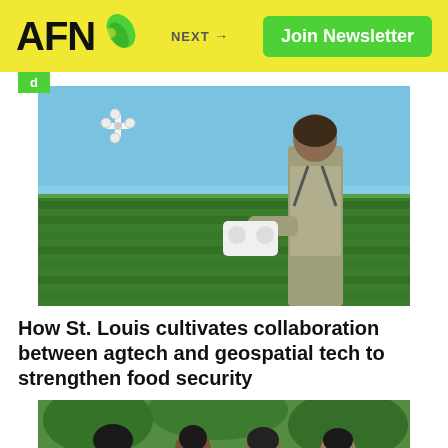AFN — NEXT → — Join Newsletter
d
[Figure (photo): Man standing in an agricultural field operating a drone with a remote controller, drone visible in sky above green crop field]
How St. Louis cultivates collaboration between agtech and geospatial tech to strengthen food security
[Figure (photo): Group of young people smiling outdoors with trees in background, wearing black shirts]